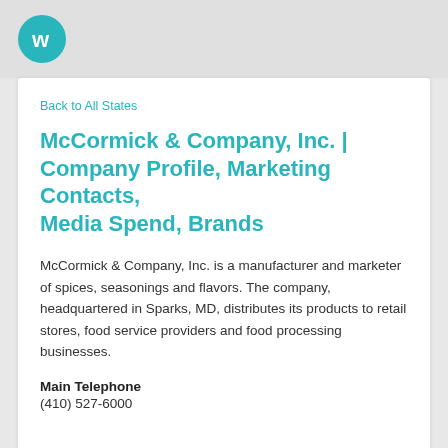[Figure (logo): Winmo teal circular logo with white 'w' letter mark]
Back to All States
McCormick & Company, Inc. | Company Profile, Marketing Contacts, Media Spend, Brands
McCormick & Company, Inc. is a manufacturer and marketer of spices, seasonings and flavors. The company, headquartered in Sparks, MD, distributes its products to retail stores, food service providers and food processing businesses.
Main Telephone
(410) 527-6000